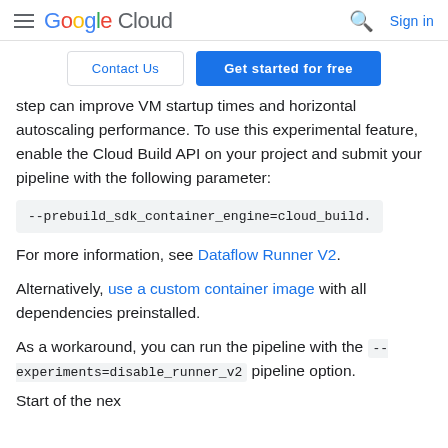Google Cloud — hamburger menu, search, Sign in
Contact Us | Get started for free
step can improve VM startup times and horizontal autoscaling performance. To use this experimental feature, enable the Cloud Build API on your project and submit your pipeline with the following parameter:
--prebuild_sdk_container_engine=cloud_build.
For more information, see Dataflow Runner V2.
Alternatively, use a custom container image with all dependencies preinstalled.
As a workaround, you can run the pipeline with the --experiments=disable_runner_v2 pipeline option.
Start of the next sentence about failed...